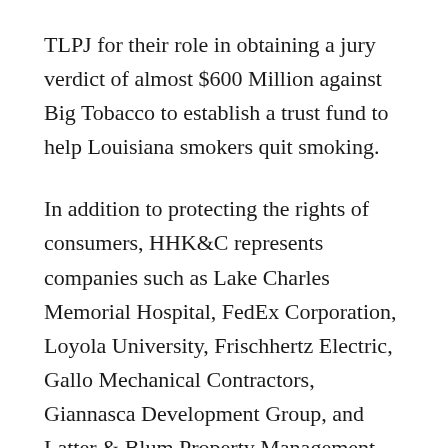TLPJ for their role in obtaining a jury verdict of almost $600 Million against Big Tobacco to establish a trust fund to help Louisiana smokers quit smoking.
In addition to protecting the rights of consumers, HHK&C represents companies such as Lake Charles Memorial Hospital, FedEx Corporation, Loyola University, Frischhertz Electric, Gallo Mechanical Contractors, Giannasca Development Group, and Latter & Blum Property Management Inc., in commercial, construction and other litigation...